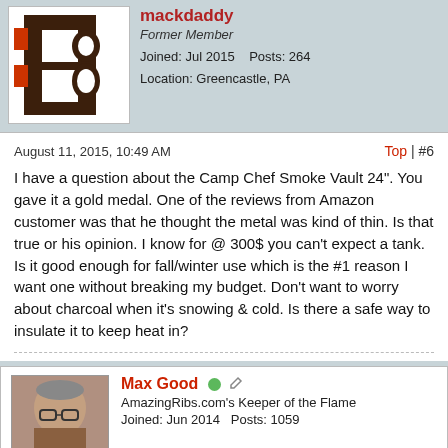[Figure (photo): Cleveland Browns style B logo avatar image — dark brown/orange letter B on white background]
mackdaddy
Former Member
Joined: Jul 2015    Posts: 264
Location: Greencastle, PA
August 11, 2015, 10:49 AM
Top | #6
I have a question about the Camp Chef Smoke Vault 24". You gave it a gold medal. One of the reviews from Amazon customer was that he thought the metal was kind of thin. Is that true or his opinion. I know for @ 300$ you can't expect a tank. Is it good enough for fall/winter use which is the #1 reason I want one without breaking my budget. Don't want to worry about charcoal when it's snowing & cold. Is there a safe way to insulate it to keep heat in?
[Figure (photo): Profile photo of Max Good, a man with glasses and gray hair]
Max Good
AmazingRibs.com's Keeper of the Flame
Joined: Jun 2014    Posts: 1059